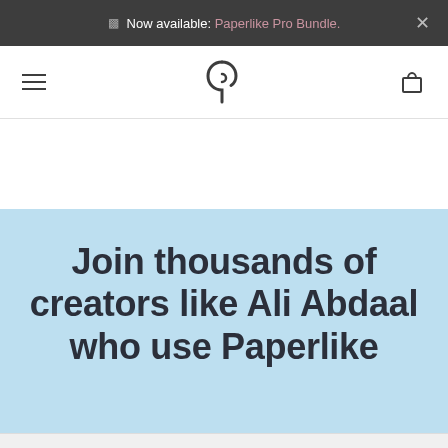Now available: Paperlike Pro Bundle.
[Figure (logo): Paperlike logo - stylized P shape in dark gray, navigation bar with hamburger menu and cart icon]
Join thousands of creators like Ali Abdaal who use Paperlike
Please note: This site uses cookies. By continuing to use this site, you agree to our use of cookies. For more information see the imprint.